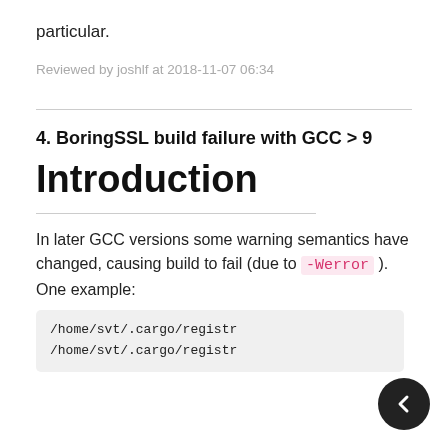particular.
Reviewed by joshlf at 2018-11-07 06:34
4. BoringSSL build failure with GCC > 9
Introduction
In later GCC versions some warning semantics have changed, causing build to fail (due to -Werror ). One example:
/home/svt/.cargo/registr
/home/svt/.cargo/registr